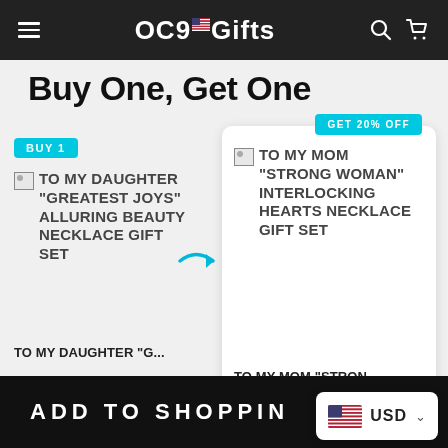OC9 Gifts
Buy One, Get One
[Figure (screenshot): Product card 1: BUY 1 badge, broken image placeholder for TO MY DAUGHTER "GREATEST JOYS" ALLURING BEAUTY NECKLACE GIFT SET, truncated title TO MY DAUGHTER "G...]
[Figure (screenshot): Product card 2: GET 20% OFF badge, broken image placeholder for TO MY MOM "STRONG WOMAN" INTERLOCKING HEARTS NECKLACE GIFT SET, truncated title TO MY MOM "STRON...]
ADD TO SHOPPIN...
USD